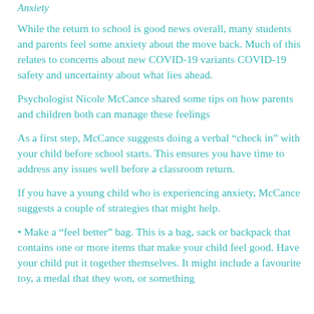Anxiety
While the return to school is good news overall, many students and parents feel some anxiety about the move back. Much of this relates to concerns about new COVID-19 variants COVID-19 safety and uncertainty about what lies ahead.
Psychologist Nicole McCance shared some tips on how parents and children both can manage these feelings
As a first step, McCance suggests doing a verbal “check in” with your child before school starts. This ensures you have time to address any issues well before a classroom return.
If you have a young child who is experiencing anxiety, McCance suggests a couple of strategies that might help.
• Make a “feel better” bag. This is a bag, sack or backpack that contains one or more items that make your child feel good. Have your child put it together themselves. It might include a favourite toy, a medal that they won, or something